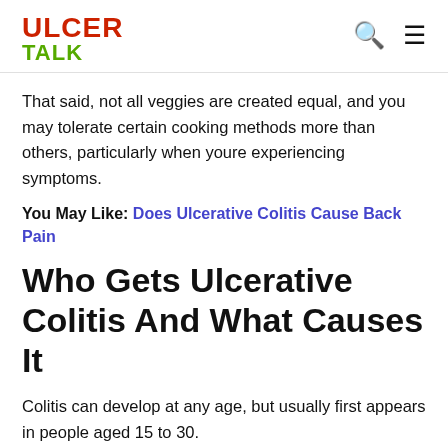ULCER TALK
That said, not all veggies are created equal, and you may tolerate certain cooking methods more than others, particularly when youre experiencing symptoms.
You May Like: Does Ulcerative Colitis Cause Back Pain
Who Gets Ulcerative Colitis And What Causes It
Colitis can develop at any age, but usually first appears in people aged 15 to 30.
Experts are not sure why UC or Crohn's disease occurs in some people. It may be due to a combination of genetic